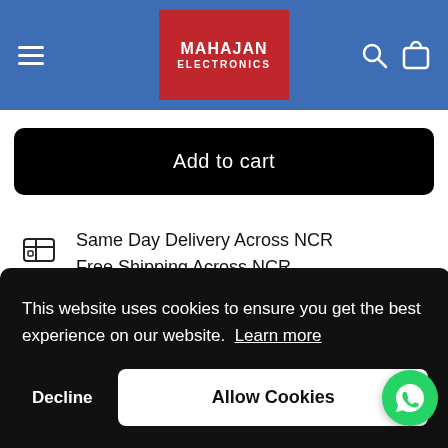[Figure (screenshot): Mahajan Electronics website header with blue background, hamburger menu icon on left, Mahajan Electronics red logo in center, search and cart icons on right]
Add to cart
Same Day Delivery Across NCR
Free Shipping Across NCR
This website uses cookies to ensure you get the best experience on our website. Learn more
Decline
Allow Cookies